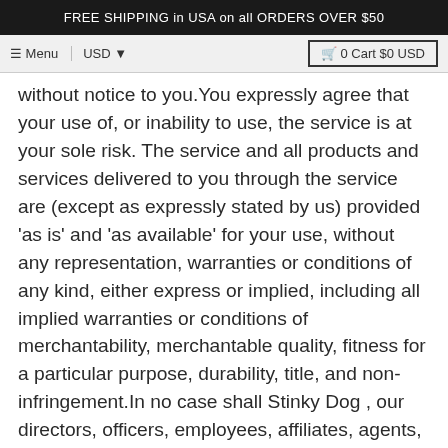FREE SHIPPING in USA on all ORDERS OVER $50
without notice to you.You expressly agree that your use of, or inability to use, the service is at your sole risk. The service and all products and services delivered to you through the service are (except as expressly stated by us) provided 'as is' and 'as available' for your use, without any representation, warranties or conditions of any kind, either express or implied, including all implied warranties or conditions of merchantability, merchantable quality, fitness for a particular purpose, durability, title, and non-infringement.In no case shall Stinky Dog , our directors, officers, employees, affiliates, agents, contractors, interns, suppliers, service providers or licensors be liable for any injury, loss, claim, or any